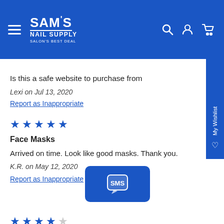[Figure (logo): Sam's Nail Supply logo with hamburger menu and header icons on blue background]
Is this a safe website to purchase from
Lexi on Jul 13, 2020
Report as Inappropriate
[Figure (other): Five blue stars rating]
Face Masks
Arrived on time. Look like good masks. Thank you.
K.R. on May 12, 2020
Report as Inappropriate
[Figure (other): SMS chat bubble button]
[Figure (other): Four blue stars rating (partially visible)]